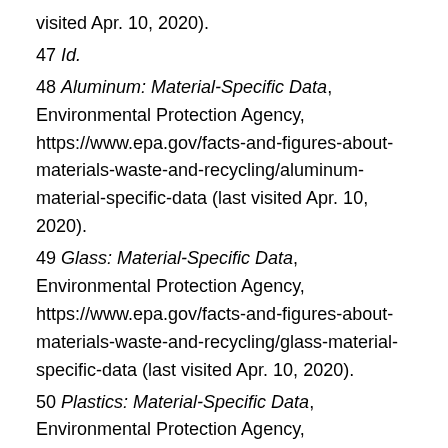visited Apr. 10, 2020).
47 Id.
48 Aluminum: Material-Specific Data, Environmental Protection Agency, https://www.epa.gov/facts-and-figures-about-materials-waste-and-recycling/aluminum-material-specific-data (last visited Apr. 10, 2020).
49 Glass: Material-Specific Data, Environmental Protection Agency, https://www.epa.gov/facts-and-figures-about-materials-waste-and-recycling/glass-material-specific-data (last visited Apr. 10, 2020).
50 Plastics: Material-Specific Data, Environmental Protection Agency, https://www.epa.gov/facts-and-figures-about-materials-waste-and-